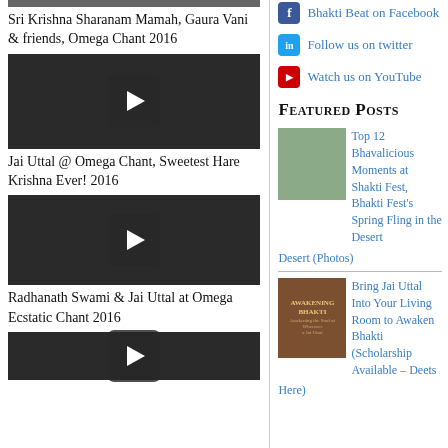[Figure (screenshot): Partial top image of performers, cropped at top]
Sri Krishna Sharanam Mamah, Gaura Vani & friends, Omega Chant 2016
[Figure (screenshot): Video thumbnail of performers at Omega Chant with play button overlay]
Jai Uttal @ Omega Chant, Sweetest Hare Krishna Ever! 2016
[Figure (screenshot): Video thumbnail of Radhanath Swami & Jai Uttal at Omega Ecstatic Chant with play button overlay]
Radhanath Swami & Jai Uttal at Omega Ecstatic Chant 2016
[Figure (screenshot): Partial video thumbnail at bottom, partially visible]
Bhakti Beat on Facebook
Follow us on twitter
Watch us on YouTube
Featured Posts
[Figure (photo): Child in blue traditional clothing]
Top 12 Bhavalicious Moments at Shakti Fest, Bhakti Fest's Spring Fling in the Desert (Photos)
[Figure (photo): Awakening Bhakti book cover with Jai Uttal]
Bring Jai Uttal Into Your Living Room to Awaken Bhakti (Scholarship Available – Deets Here)